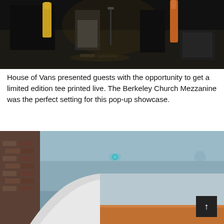[Figure (photo): Dark concert/event photo showing musicians on stage with instruments including guitars, shot from a low angle with dramatic low-key lighting revealing yellow colored guitar and cables on floor]
House of Vans presented guests with the opportunity to get a limited edition tee printed live. The Berkeley Church Mezzanine was the perfect setting for this pop-up showcase.
[Figure (photo): Interior architectural photo showing a ceiling and wall area of Berkeley Church Mezzanine with exposed brick, a curved white wall, teal/blue small light fixture on ceiling, and what appears to be a wood-topped counter or surface at bottom right. A dark scroll-to-top button with an upward arrow is overlaid in the bottom-right corner.]